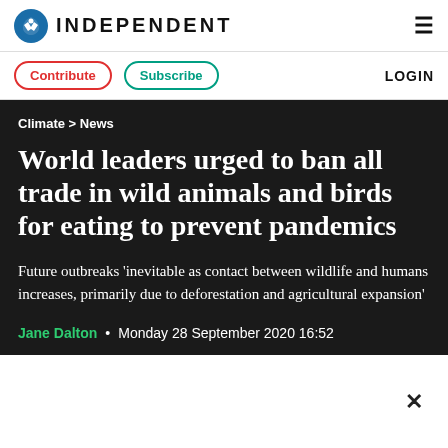INDEPENDENT
Contribute   Subscribe   LOGIN
Climate > News
World leaders urged to ban all trade in wild animals and birds for eating to prevent pandemics
Future outbreaks 'inevitable as contact between wildlife and humans increases, primarily due to deforestation and agricultural expansion'
Jane Dalton • Monday 28 September 2020 16:52